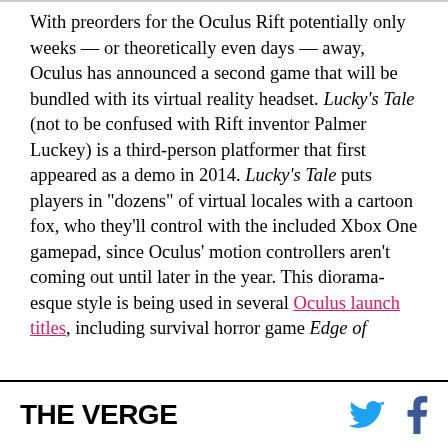With preorders for the Oculus Rift potentially only weeks — or theoretically even days — away, Oculus has announced a second game that will be bundled with its virtual reality headset. Lucky's Tale (not to be confused with Rift inventor Palmer Luckey) is a third-person platformer that first appeared as a demo in 2014. Lucky's Tale puts players in "dozens" of virtual locales with a cartoon fox, who they'll control with the included Xbox One gamepad, since Oculus' motion controllers aren't coming out until later in the year. This diorama-esque style is being used in several Oculus launch titles, including survival horror game Edge of
THE VERGE